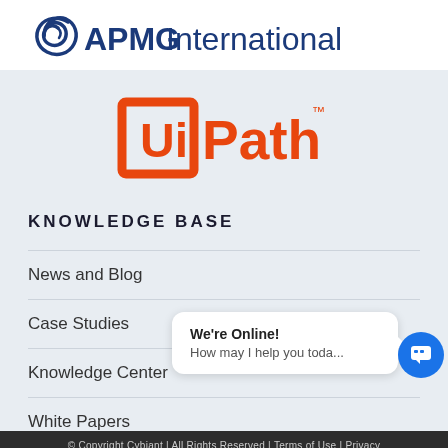[Figure (logo): APMG International logo — blue spiral icon and blue text 'APMG International']
[Figure (logo): UiPath logo — orange square bracket with 'UiPath' text in orange and trademark symbol]
KNOWLEDGE BASE
News and Blog
Case Studies
Knowledge Center
White Papers
We're Online!
How may I help you toda...
© Copyright Cybiant | All Rights Reserved | Terms of Use | Privacy